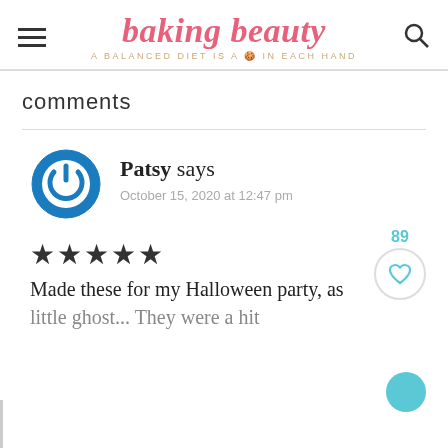baking beauty — A BALANCED DIET IS A 🍪 IN EACH HAND
comments
Patsy says
October 15, 2020 at 12:47 pm
★★★★★
Made these for my Halloween party, as little ghost... They were a hit...